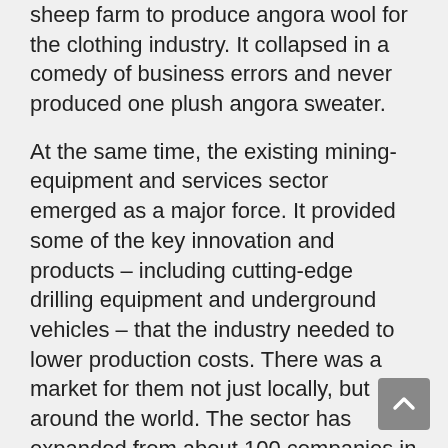sheep farm to produce angora wool for the clothing industry. It collapsed in a comedy of business errors and never produced one plush angora sweater.
At the same time, the existing mining-equipment and services sector emerged as a major force. It provided some of the key innovation and products – including cutting-edge drilling equipment and underground vehicles – that the industry needed to lower production costs. There was a market for them not just locally, but around the world. The sector has expanded from about 100 companies in Sudbury to more than 355, employing more than 13,000 workers – far more than the Big Two. Firms such as